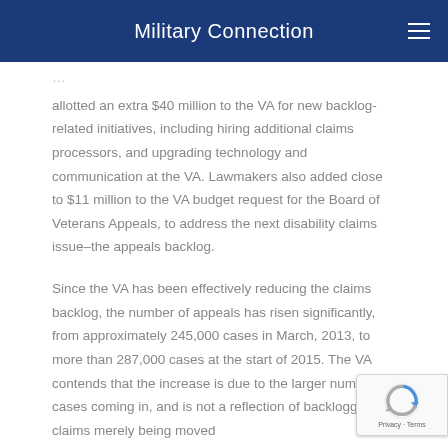Military Connection
allotted an extra $40 million to the VA for new backlog-related initiatives, including hiring additional claims processors, and upgrading technology and communication at the VA. Lawmakers also added close to $11 million to the VA budget request for the Board of Veterans Appeals, to address the next disability claims issue–the appeals backlog.
Since the VA has been effectively reducing the claims backlog, the number of appeals has risen significantly, from approximately 245,000 cases in March, 2013, to more than 287,000 cases at the start of 2015. The VA contends that the increase is due to the larger number of cases coming in, and is not a reflection of backlogged claims merely being moved